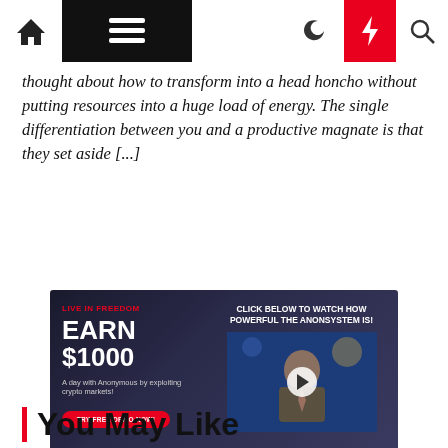Navigation bar with home, menu, moon, bolt, search icons
thought about how to transform into a head honcho without putting resources into a huge load of energy. The single differentiation between you and a productive magnate is that they set aside [...]
[Figure (infographic): Advertisement banner: LIVE IN FREEDOM - EARN $1000 - A day with Anonymous by exploiting crypto markets! TRY FREE DEMO NOW! / CLICK BELOW TO WATCH HOW POWERFUL THE ANONSYSTEM IS! with video thumbnail of news anchor]
You May Like